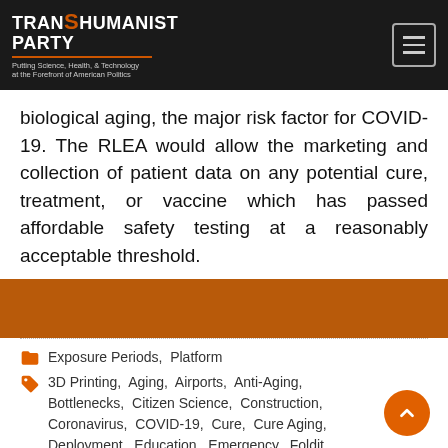TRANSHUMANIST PARTY — Putting Science, Health, & Technology at the Forefront of American Politics
biological aging, the major risk factor for COVID-19. The RLEA would allow the marketing and collection of patient data on any potential cure, treatment, or vaccine which has passed affordable safety testing at a reasonably acceptable threshold.
Exposure Periods, Platform
3D Printing, Aging, Airports, Anti-Aging, Bottlenecks, Citizen Science, Construction, Coronavirus, COVID-19, Cure, Cure Aging, Deployment, Education, Emergency, Foldit, Homeless, Homeschooling, Hospital, Hospitals, Longevity, Micropayments, Military, Pandemic,